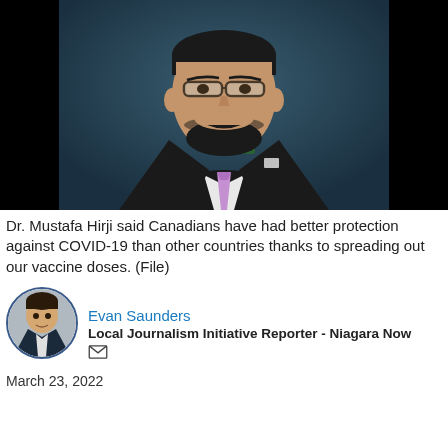[Figure (photo): Professional headshot of Dr. Mustafa Hirji wearing a black suit and lavender/purple tie against a blue-grey background]
Dr. Mustafa Hirji said Canadians have had better protection against COVID-19 than other countries thanks to spreading out our vaccine doses. (File)
[Figure (photo): Small circular avatar photo of Evan Saunders, a young man in a dark jacket]
Evan Saunders
Local Journalism Initiative Reporter - Niagara Now
March 23, 2022